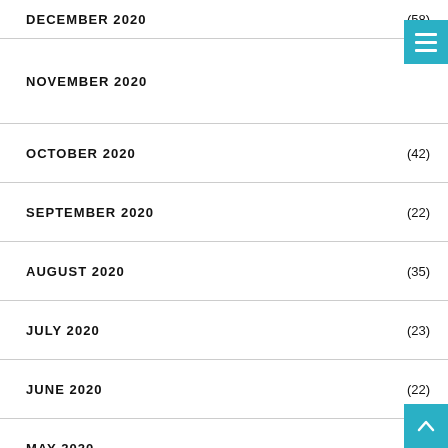DECEMBER 2020 (58)
NOVEMBER 2020
OCTOBER 2020 (42)
SEPTEMBER 2020 (22)
AUGUST 2020 (35)
JULY 2020 (23)
JUNE 2020 (22)
MAY 2020 (51)
APRIL 2020 (58)
MARCH 2020 (32)
FEBRUARY 2020